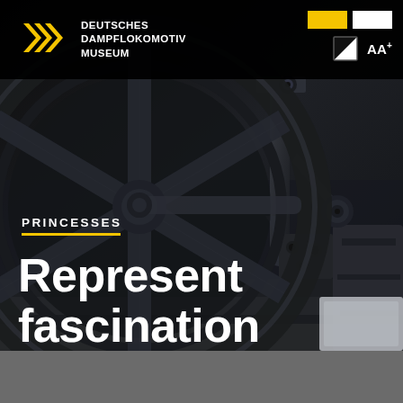[Figure (photo): Close-up photograph of steam locomotive wheel and mechanical components, dark moody industrial background]
DEUTSCHES DAMPFLOKOMOTIV MUSEUM
PRINCESSES
Represent fascination